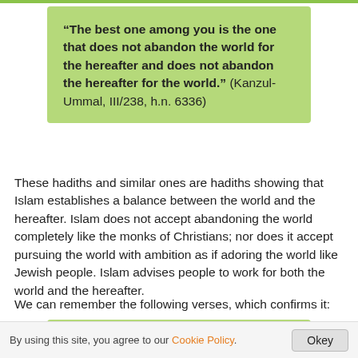“The best one among you is the one that does not abandon the world for the hereafter and does not abandon the hereafter for the world.” (Kanzul-Ummal, III/238, h.n. 6336)
These hadiths and similar ones are hadiths showing that Islam establishes a balance between the world and the hereafter. Islam does not accept abandoning the world completely like the monks of Christians; nor does it accept pursuing the world with ambition as if adoring the world like Jewish people. Islam advises people to work for both the world and the hereafter.
We can remember the following verses, which confirms it:
“There are men who say: ‘Our Lord!
By using this site, you agree to our Cookie Policy.